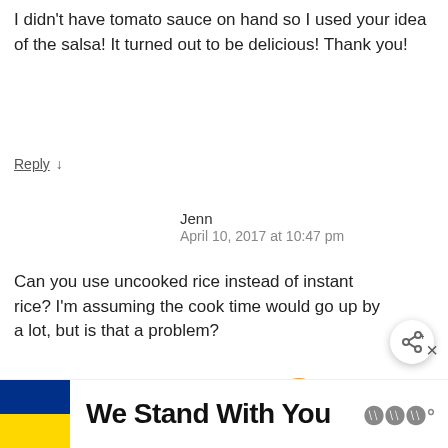I didn't have tomato sauce on hand so I used your idea of the salsa! It turned out to be delicious! Thank you!
Reply ↓
Jenn
April 10, 2017 at 10:47 pm
Can you use uncooked rice instead of instant rice? I'm assuming the cook time would go up by a lot, but is that a problem?
Reply ↓
[Figure (other): Share button icon (circular button with share symbol)]
[Figure (other): What's Next promo: Quick Mexican Rice Recipe... with food image]
Anne-Marie Nichols  Post author
[Figure (other): Advertisement banner: Ukrainian flag colors with text 'We Stand With You']